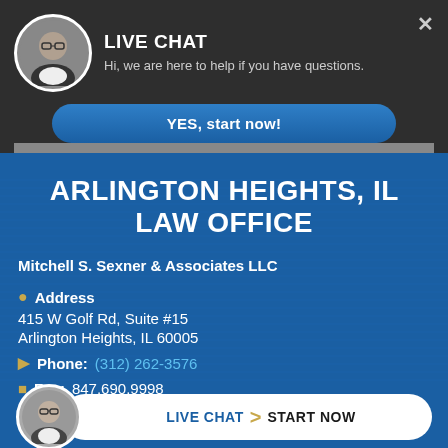[Figure (screenshot): Live chat popup banner with avatar of man in glasses, LIVE CHAT heading, subtitle text, YES start now button, and X close icon]
ARLINGTON HEIGHTS, IL LAW OFFICE
Mitchell S. Sexner & Associates LLC
Address
415 W Golf Rd, Suite #15
Arlington Heights, IL 60005
Phone: (312) 262-3576
Fax: 847.690.9998
E...
[Figure (screenshot): Bottom live chat bar with circular avatar of man and white pill-shaped button reading LIVE CHAT > START NOW]